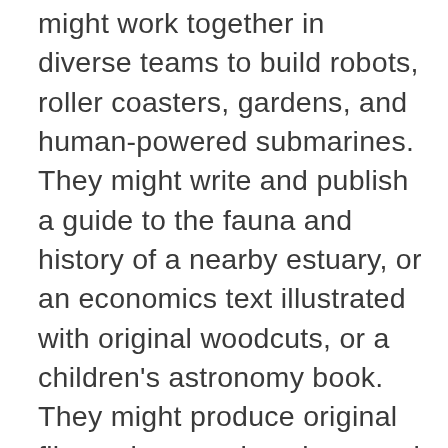might work together in diverse teams to build robots, roller coasters, gardens, and human-powered submarines. They might write and publish a guide to the fauna and history of a nearby estuary, or an economics text illustrated with original woodcuts, or a children's astronomy book. They might produce original films, plays, and spoken word events on adolescent issues, Japanese internment, cross-border experiences, and a host of other topics. They might mount a crime scene exhibition linking art history and DNA analysis, or develop a museum exhibit of World War I as seen from various perspectives. They might celebrate returning warriors, emulating the bard in Beowulf, by